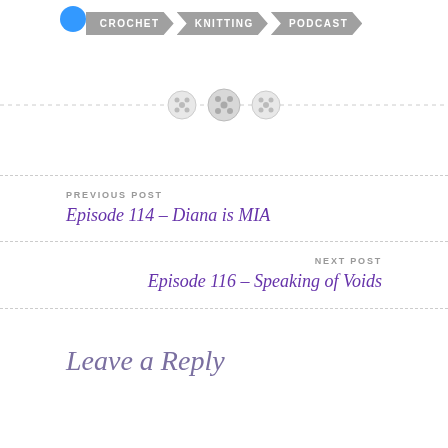[Figure (logo): Blue circular logo icon in top left corner]
CROCHET  KNITTING  PODCAST
[Figure (illustration): Three decorative button icons on a dashed horizontal divider line]
PREVIOUS POST
Episode 114 – Diana is MIA
NEXT POST
Episode 116 – Speaking of Voids
Leave a Reply